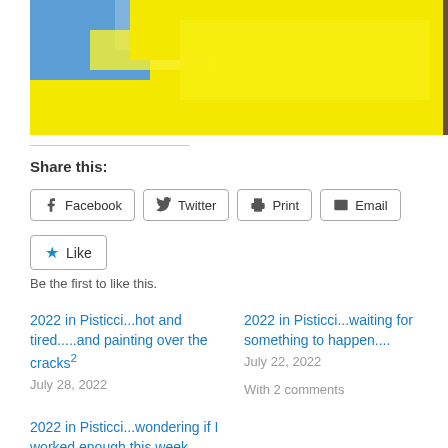[Figure (photo): Abstract painting with yellow and blue colors, partially cropped at top of page]
Share this:
Facebook  Twitter  Print  Email
Like
Be the first to like this.
2022 in Pisticci...hot and tired.....and painting over the cracks²
July 28, 2022
2022 in Pisticci...waiting for something to happen....
July 22, 2022
With 2 comments
2022 in Pisticci...wondering if I worked enough this week